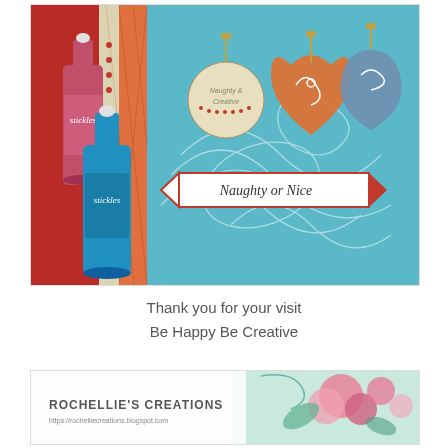[Figure (photo): Craft photo showing two Stickles glitter glue bottles (red/pink and blue) on a red background, alongside a Christmas card featuring ornaments and the text 'Naughty or Nice' on a teal/aqua background with swirling decorative patterns.]
Thank you for your visit
Be Happy Be Creative
[Figure (logo): Rochellie's Creations blog banner with text 'ROCHELLIE'S CREATIONS' and URL 'https://rochelliecreations.blogspot.com', decorated with pink floral/rose imagery on a teal background.]